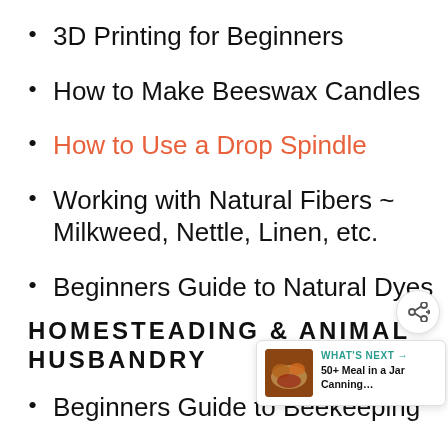3D Printing for Beginners
How to Make Beeswax Candles
How to Use a Drop Spindle
Working with Natural Fibers ~ Milkweed, Nettle, Linen, etc.
Beginners Guide to Natural Dyes
HOMESTEADING & ANIMAL HUSBANDRY
Beginners Guide to Beekeeping